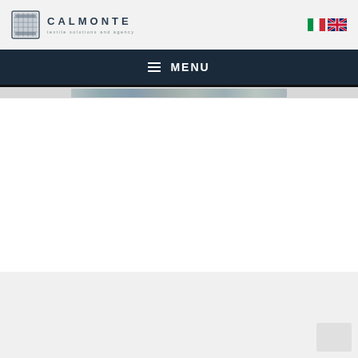[Figure (logo): Calmonte logo with textile icon, company name CALMONTE, and tagline 'textile solutions and agency']
[Figure (logo): Italian and UK flags for language selection]
☰ MENU
[Figure (photo): Blurred banner image strip showing textile/fabric patterns]